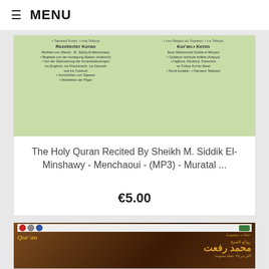≡ MENU
[Figure (photo): CD/DVD product image for The Holy Quran recitation, showing green bilingual booklet with Arabic and German/Turkish text, Tajweed Rules, Rezetierter Koran and Kur'an-i Kerim columns]
The Holy Quran Recited By Sheikh M. Siddik El-Minshawy - Menchaoui - (MP3) - Muratal ...
€5.00
[Figure (photo): Product image for Quran recitation DVD featuring Arabic calligraphy text 'Qur'an', name in Arabic script (Muhammad Rifaat), gold text on dark brown/burgundy background, DVD/CD logos at top]